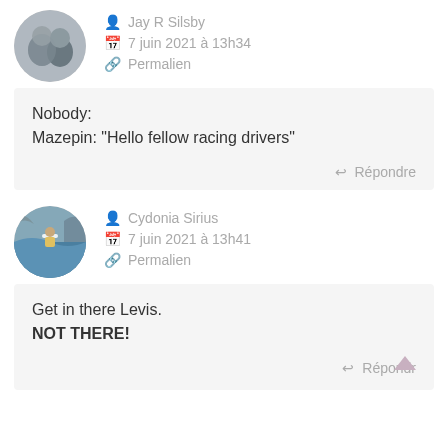Jay R Silsby
7 juin 2021 à 13h34
Permalien
Nobody:
Mazepin: "Hello fellow racing drivers"
Répondre
Cydonia Sirius
7 juin 2021 à 13h41
Permalien
Get in there Levis.
NOT THERE!
Répondre